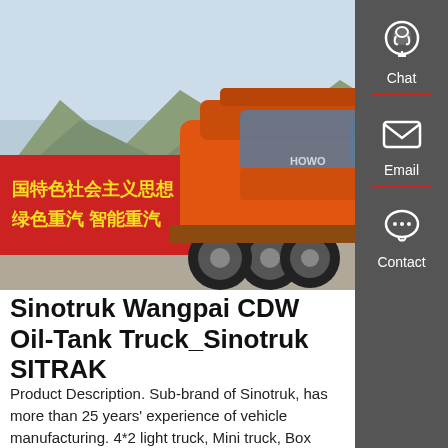[Figure (photo): Orange Sinotruk heavy-duty 6x4 tractor truck parked in a lot, with a red Chinese banner in the background reading Chinese text about socialist ideology and Sinotruk branding, mountains visible in background.]
Sinotruk Wangpai CDW Oil-Tank Truck_Sinotruk SITRAK
Product Description. Sub-brand of Sinotruk, has more than 25 years' experience of vehicle manufacturing. 4*2 light truck, Mini truck, Box Truck, dump truck.Selling well in Southeast Asia, South America.